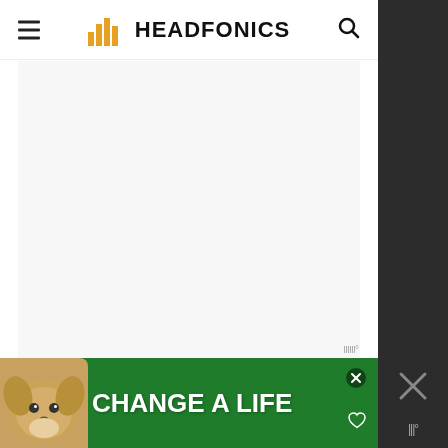Headfonics
[Figure (other): Large blank/white content area below the Headfonics header, representing a lazy-loaded or empty article image area]
[Figure (other): Advertisement banner at the bottom: green background with a dog photo on the left and the text CHANGE A LIFE in large white bold letters, with a heart icon and close button]
[Figure (other): Right-side dark panel with X close icon and metered paywall icon (III degree symbol)]